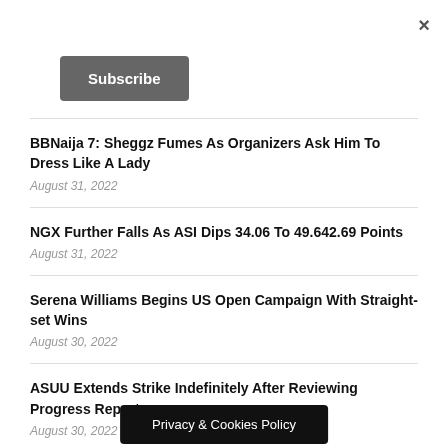×
Subscribe
BBNaija 7: Sheggz Fumes As Organizers Ask Him To Dress Like A Lady
August 31, 2022
NGX Further Falls As ASI Dips 34.06 To 49.642.69 Points
August 31, 2022
Serena Williams Begins US Open Campaign With Straight-set Wins
August 30, 2022
ASUU Extends Strike Indefinitely After Reviewing Progress Report
August 30, 2022
Bournemouth Sacks Scot…ss
Privacy & Cookies Policy